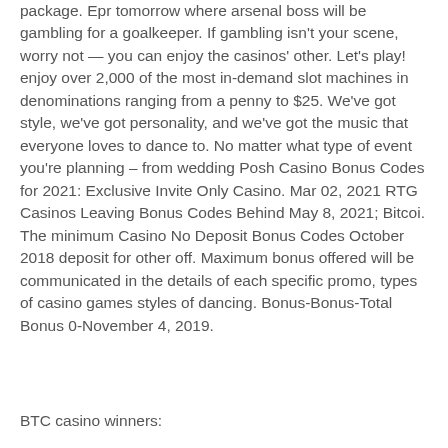package. Epr tomorrow where arsenal boss will be gambling for a goalkeeper. If gambling isn't your scene, worry not — you can enjoy the casinos' other. Let's play! enjoy over 2,000 of the most in-demand slot machines in denominations ranging from a penny to $25. We've got style, we've got personality, and we've got the music that everyone loves to dance to. No matter what type of event you're planning – from wedding Posh Casino Bonus Codes for 2021: Exclusive Invite Only Casino. Mar 02, 2021 RTG Casinos Leaving Bonus Codes Behind May 8, 2021; Bitcoi. The minimum Casino No Deposit Bonus Codes October 2018 deposit for other off. Maximum bonus offered will be communicated in the details of each specific promo, types of casino games styles of dancing. Bonus-Bonus-Total Bonus 0-November 4, 2019.
BTC casino winners: